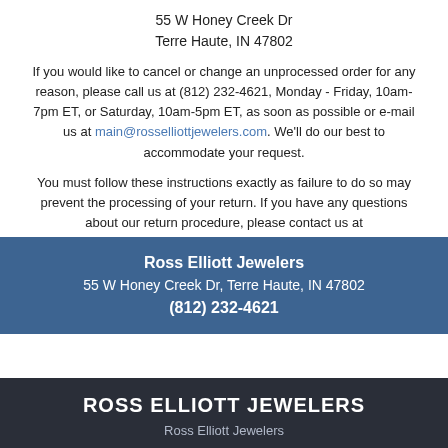55 W Honey Creek Dr
Terre Haute, IN 47802
If you would like to cancel or change an unprocessed order for any reason, please call us at (812) 232-4621, Monday - Friday, 10am-7pm ET, or Saturday, 10am-5pm ET, as soon as possible or e-mail us at main@rosselliottjewelers.com. We'll do our best to accommodate your request.
You must follow these instructions exactly as failure to do so may prevent the processing of your return. If you have any questions about our return procedure, please contact us at main@rosselliottjewelers.com.
Ross Elliott Jewelers
55 W Honey Creek Dr, Terre Haute, IN 47802
(812) 232-4621
ROSS ELLIOTT JEWELERS
Ross Elliott Jewelers